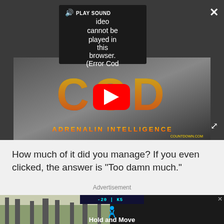[Figure (screenshot): Video player with dark background showing a COD (Call of Duty) themed YouTube thumbnail with yellow fire-style text 'ADRENALIN INTELLIGENCE' and a red YouTube play button in center. A 'PLAY SOUND' popup overlay shows 'Video cannot be played in this browser. (Error Cod'. An X close button is top-right. Expand arrows bottom-right.]
How much of it did you manage? If you even clicked, the answer is "Too damn much."
Advertisement
[Figure (screenshot): Bottom advertisement strip showing a scoreboard with '-20 | K5' and text 'Hold and Move' with blue walking figure icon, on a dark background with trees in background.]